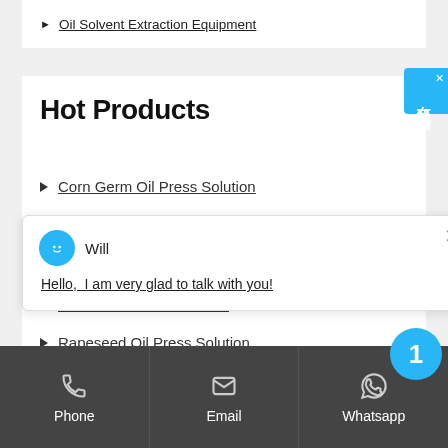Oil Solvent Extraction Equipment
Hot Products
Corn Germ Oil Press Solution
[Figure (screenshot): Chat popup with avatar of 'Will' and message: Hello, I am very glad to talk with you!]
Peanut Oil Press Solution
Rapeseed Oil Press Solution
Phone
Email
Whatsapp